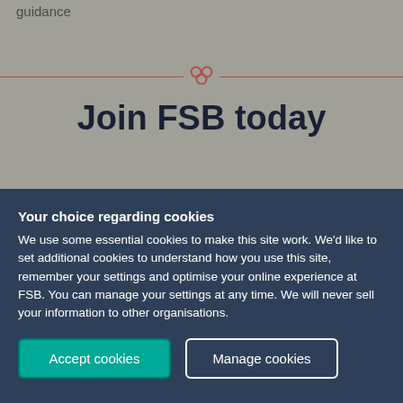guidance
Join FSB today
Your choice regarding cookies
We use some essential cookies to make this site work. We'd like to set additional cookies to understand how you use this site, remember your settings and optimise your online experience at FSB. You can manage your settings at any time. We will never sell your information to other organisations.
Accept cookies
Manage cookies